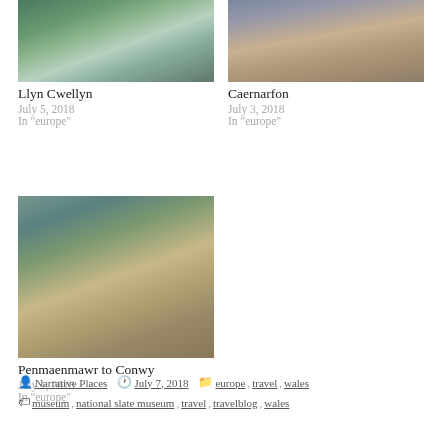[Figure (photo): Llyn Cwellyn - lake and hills landscape photo]
Llyn Cwellyn
July 5, 2018
In 'europe'
[Figure (photo): Caernarfon - castle walls and street photo]
Caernarfon
July 3, 2018
In 'europe'
[Figure (photo): Penmaenmawr to Conwy - aerial castle and town photo]
Penmaenmawr to Conwy
July 1, 2018
In 'europe'
Narrative Places  July 7, 2018  europe, travel, wales  museum, national slate museum, travel, travelblog, wales